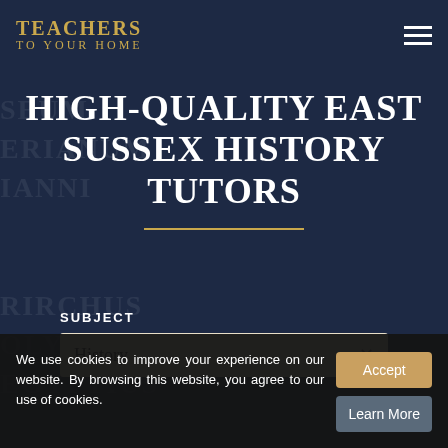[Figure (logo): Teachers To Your Home logo in gold/tan text on dark navy background]
HIGH-QUALITY EAST SUSSEX HISTORY TUTORS
SUBJECT
History ×
We use cookies to improve your experience on our website. By browsing this website, you agree to our use of cookies.